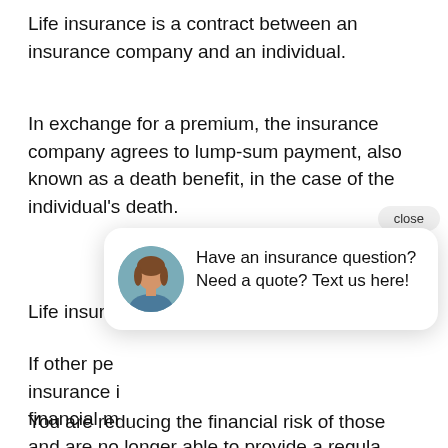Life insurance is a contract between an insurance company and an individual.
In exchange for a premium, the insurance company agrees to lump-sum payment, also known as a death benefit, in the case of the individual's death.
Life insurance is a tool to manage your risk.
If other people depend on you financially, insurance is a way to protect them from financial misfortune if you die unexpectedly and are no longer able to provide a regular income.
You are reducing the financial risk of those
[Figure (screenshot): Chat widget popup showing a female advisor avatar and the text: 'Have an insurance question? Need a quote? Text us here!' with a close button and a gold circular chat icon button.]